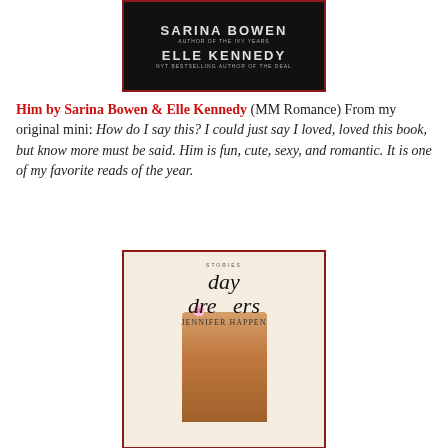[Figure (illustration): Book cover for 'Him' by Sarina Bowen and Elle Kennedy, dark background with author names in white/grey text. Shows top portion of cover only.]
Him by Sarina Bowen & Elle Kennedy (MM Romance) From my original mini: How do I say this? I could just say I loved, loved this book, but know more must be said. Him is fun, cute, sexy, and romantic. It is one of my favorite reads of the year.
[Figure (illustration): Book cover for 'Day Dreamers: Stories' by Jennifer Niven. Shows a man with flowers, with decorative script lettering over the image on a warm background.]